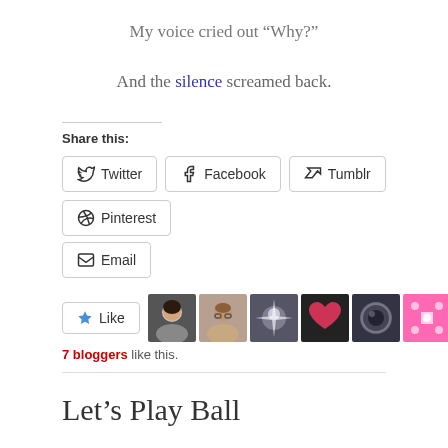My voice cried out “Why?”
And the silence screamed back.
Share this:
Twitter Facebook Tumblr Pinterest Email
7 bloggers like this.
Let’s Play Ball